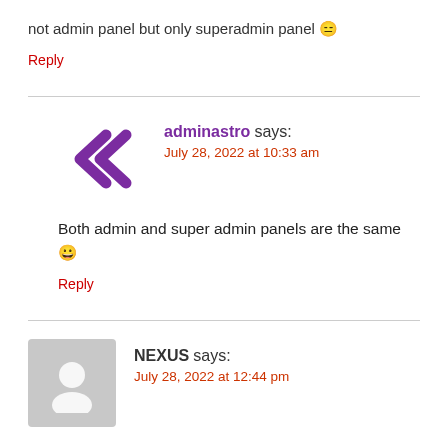not admin panel but only superadmin panel 😑
Reply
adminastro says:
July 28, 2022 at 10:33 am
Both admin and super admin panels are the same 😀
Reply
NEXUS says:
July 28, 2022 at 12:44 pm